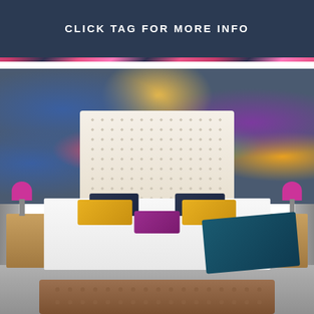CLICK TAG FOR MORE INFO
[Figure (photo): Styled bedroom interior with a large tufted cream/beige headboard against a vibrant tropical bird and floral wallpaper in blue, purple, yellow, and pink. Bed has white bedding, navy and yellow throw pillows, and a purple accent pillow. Pink lamps on wooden nightstands flank the bed. A teal throw blanket is draped on the right side of the bed. A tufted brown ottoman is at the foot of the bed.]